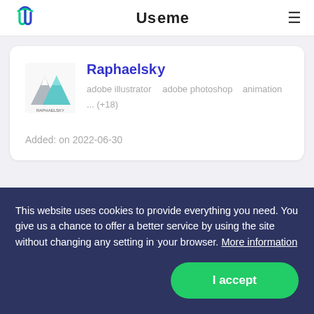Useme
Raphaelsky
adobe illustrator   adobe photoshop   animation   ... (+18)
Added: on 2022-06-30
This website uses cookies to provide everything you need. You give us a chance to offer a better service by using the site without changing any setting in your browser. More information
I accept